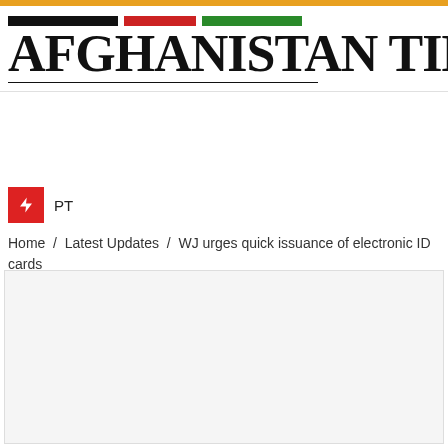AFGHANISTAN TIMES
PT
Home / Latest Updates / WJ urges quick issuance of electronic ID cards
[Figure (photo): Large image placeholder area, light gray background]